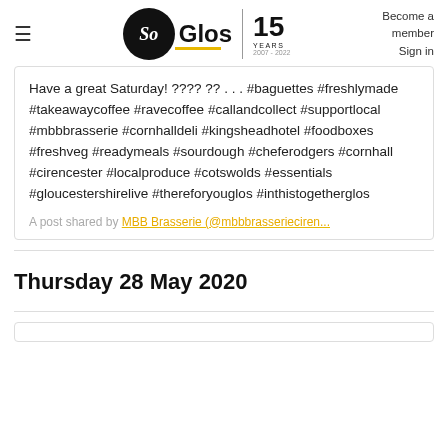So Glos | 15 YEARS 2007-2022 | Become a member | Sign in
Have a great Saturday! ???? ?? . . . #baguettes #freshlymade #takeawaycoffee #ravecoffee #callandcollect #supportlocal #mbbbrasserie #cornhalldeli #kingsheadhotel #foodboxes #freshveg #readymeals #sourdough #cheferodgers #cornhall #cirencester #localproduce #cotswolds #essentials #gloucestershirelive #thereforyouglos #inthistogetherglos
A post shared by MBB Brasserie (@mbbbrasserieciren...
Thursday 28 May 2020